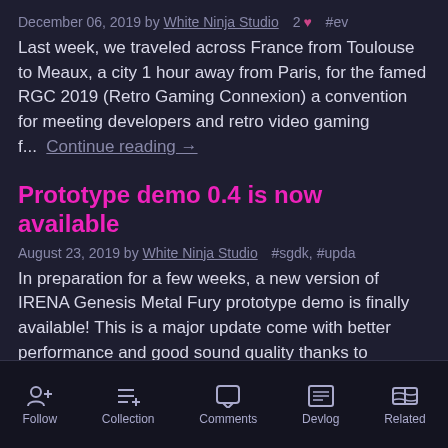December 06, 2019 by White Ninja Studio  2 ♥  #ev
Last week, we traveled across France from Toulouse to Meaux, a city 1 hour away from Paris, for the famed RGC 2019 (Retro Gaming Connexion) a convention for meeting developers and retro video gaming f...  Continue reading →
Prototype demo 0.4 is now available
August 23, 2019 by White Ninja Studio  #sgdk, #upda
In preparation for a few weeks, a new version of IRENA Genesis Metal Fury prototype demo is finally available! This is a major update come with better performance and good sound quality thanks to the...  Continue reading →
Follow  Collection  Comments  Devlog  Related